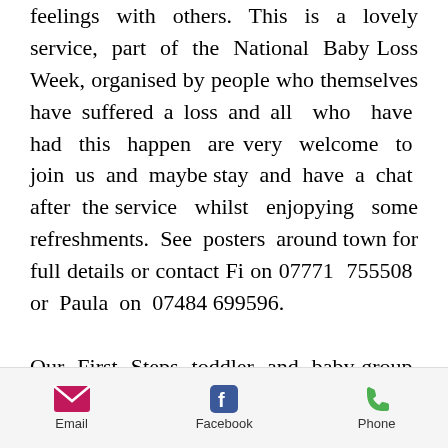feelings with others.  This is a lovely service,  part  of  the  National  Baby Loss Week, organised by people who themselves have suffered a loss and all  who  have  had  this  happen  are very  welcome  to  join  us  and  maybe stay  and  have  a  chat  after  the service  whilst  enjopying  some refreshments.  See  posters  around town for full details or contact Fi on 07771  755508  or  Paula  on  07484 699596.

Our  First  Steps  toddler  and  baby group  will  be  meeting  on  Friday,  in the  church  hall  at  the  usual  time  of 9.30am.  Further  details  about  the
Email   Facebook   Phone